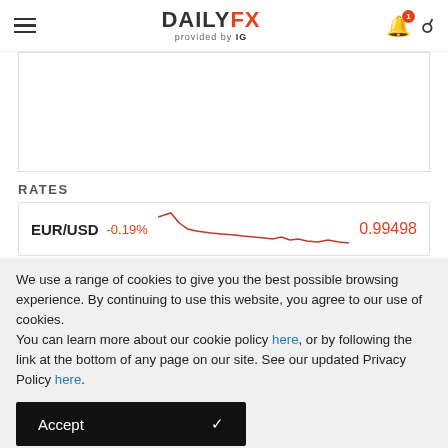DAILYFX provided by IG
[Figure (other): Empty chart placeholder area with border]
RATES
[Figure (line-chart): EUR/USD rate line chart showing declining trend, value 0.99498, change -0.19%]
We use a range of cookies to give you the best possible browsing experience. By continuing to use this website, you agree to our use of cookies.
You can learn more about our cookie policy here, or by following the link at the bottom of any page on our site. See our updated Privacy Policy here.
Accept